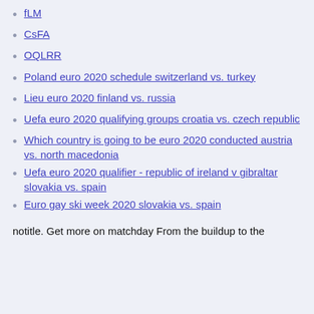fLM
CsFA
OQLRR
Poland euro 2020 schedule switzerland vs. turkey
Lieu euro 2020 finland vs. russia
Uefa euro 2020 qualifying groups croatia vs. czech republic
Which country is going to be euro 2020 conducted austria vs. north macedonia
Uefa euro 2020 qualifier - republic of ireland v gibraltar slovakia vs. spain
Euro gay ski week 2020 slovakia vs. spain
notitle. Get more on matchday From the buildup to the